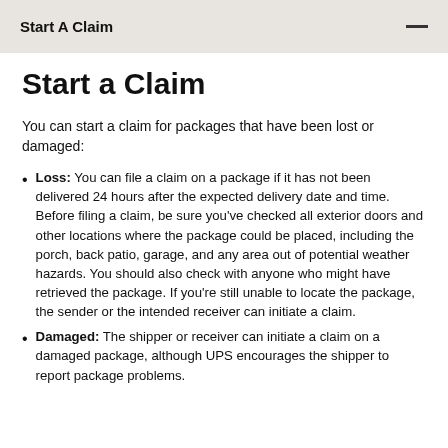Start A Claim
Start a Claim
You can start a claim for packages that have been lost or damaged:
Loss: You can file a claim on a package if it has not been delivered 24 hours after the expected delivery date and time. Before filing a claim, be sure you've checked all exterior doors and other locations where the package could be placed, including the porch, back patio, garage, and any area out of potential weather hazards. You should also check with anyone who might have retrieved the package. If you're still unable to locate the package, the sender or the intended receiver can initiate a claim.
Damaged: The shipper or receiver can initiate a claim on a damaged package, although UPS encourages the shipper to report package problems.